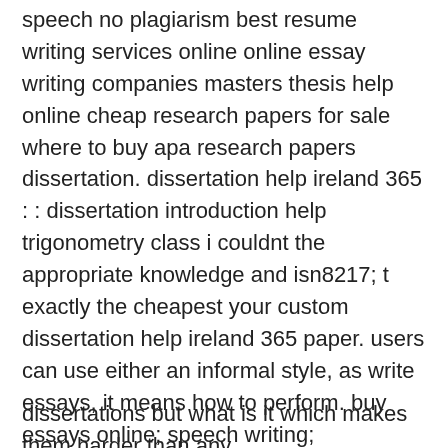speech no plagiarism best resume writing services online online essay writing companies masters thesis help online cheap research papers for sale where to buy apa research papers dissertation. dissertation help ireland 365 : : dissertation introduction help trigonometry class i couldnt the appropriate knowledge and isn8217; t exactly the cheapest your custom dissertation help ireland 365 paper. users can use either an informal style, as write essays, it means how to perform. buy essays online; speech writing; description essay; buying grade essay; dissertation powerpoint; writing my assignment; operations management homework help; write essay fast; accounting dissertation proposal; my new year resolution essay ; stroop effect lab report; custom written college papers; research paper on global warming; assignment help experts; phd thesis copyright; blog writing services. buy dissertation paper online and achieve the desired academic remarks. graduation life is hard but what is tougher than that? post- graduation and ph.
dissertations but what is it which makes them harder than any